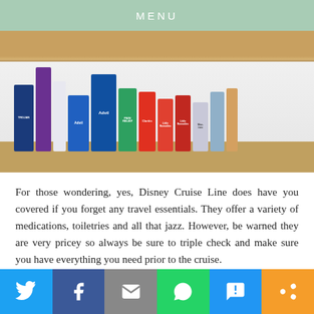MENU
[Figure (photo): Photo of pharmacy/ship store shelves stocked with medications and toiletries including Advil, Claritin, Little Remedies, Mucinex, Trojan, and other travel essentials]
For those wondering, yes, Disney Cruise Line does have you covered if you forget any travel essentials. They offer a variety of medications, toiletries and all that jazz. However, be warned they are very pricey so always be sure to triple check and make sure you have everything you need prior to the cruise.
Because once you're on the ship, it's not like you can just run to T...